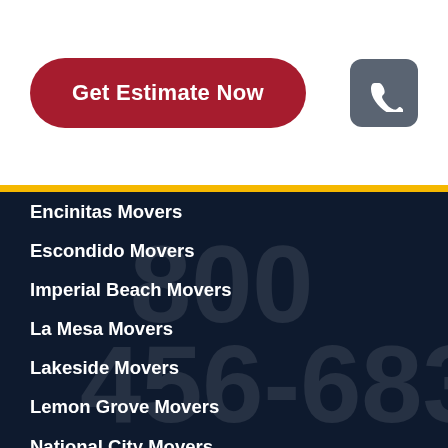[Figure (other): Red rounded rectangle button labeled 'Get Estimate Now' in white bold text]
[Figure (other): Gray rounded square icon containing a white phone handset symbol]
Encinitas Movers
Escondido Movers
Imperial Beach Movers
La Mesa Movers
Lakeside Movers
Lemon Grove Movers
National City Movers
Poway Movers
Ramona Movers